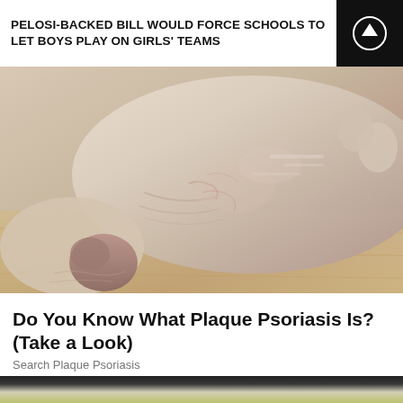PELOSI-BACKED BILL WOULD FORCE SCHOOLS TO LET BOYS PLAY ON GIRLS' TEAMS
[Figure (photo): Close-up photo of a human foot and ankle showing dry, flaky skin characteristic of plaque psoriasis, resting on a wooden floor surface.]
Do You Know What Plaque Psoriasis Is? (Take a Look)
Search Plaque Psoriasis
[Figure (photo): Photo showing three green glass bottles with blue caps, partially visible at the bottom of the page.]